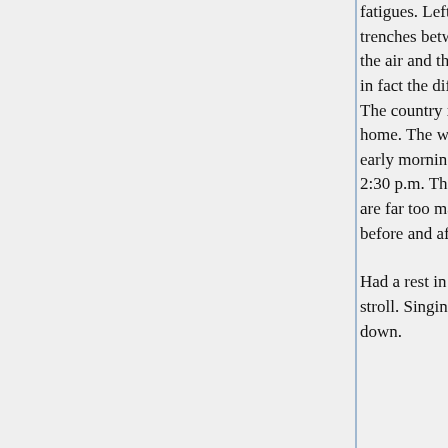fatigues. Left with 500 men and 5 officers for second line trenches between Albert and Bouzincourt. Very fine morning, the air and the pipes and everything reminded me of Bedford, in fact the difficulty is to realize we are behind the firing line. The country is splendid and the harvest ready for carting home. The women, children and old men do the work, mostly early morning, and evening. Worked till after 12 and got back 2:30 p.m. The men very tired, and not fit to work well. There are far too many fatigues here, and always a long march before and after.
Had a rest in the afternoon and after tea wrote and went for a stroll. Singing in B Coys tonight, also a case of O.P. Didn't go down.